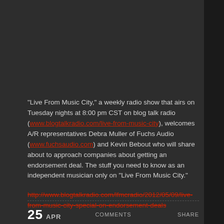“Live From Music City,” a weekly radio show that airs on Tuesday nights at 8:00 pm CST on blog talk radio (www.blogtalkradio.com/live-from-music-city), welcomes A/R representatives Debra Muller of Fuchs Audio (www.fuchsaudio.com) and Kevin Bebout who will share about to approach companies about getting an endorsement deal. The stuff you need to know as an independent musician only on “Live From Music City.”
http://www.blogtalkradio.com/lfmcradio/2012/05/09/live-from-music-city-special-on-endorsement-deals
25 APR   COMMENTS   SHARE